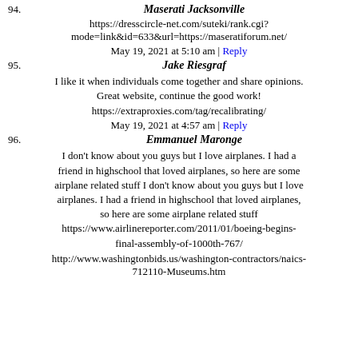94. Maserati Jacksonville
https://dresscircle-net.com/suteki/rank.cgi?mode=link&id=633&url=https://maseratiforum.net/
May 19, 2021 at 5:10 am | Reply
95. Jake Riesgraf
I like it when individuals come together and share opinions. Great website, continue the good work!
https://extraproxies.com/tag/recalibrating/
May 19, 2021 at 4:57 am | Reply
96. Emmanuel Maronge
I don't know about you guys but I love airplanes. I had a friend in highschool that loved airplanes, so here are some airplane related stuff I don't know about you guys but I love airplanes. I had a friend in highschool that loved airplanes, so here are some airplane related stuff https://www.airlinereporter.com/2011/01/boeing-begins-final-assembly-of-1000th-767/
http://www.washingtonbids.us/washington-contractors/naics-712110-Museums.htm